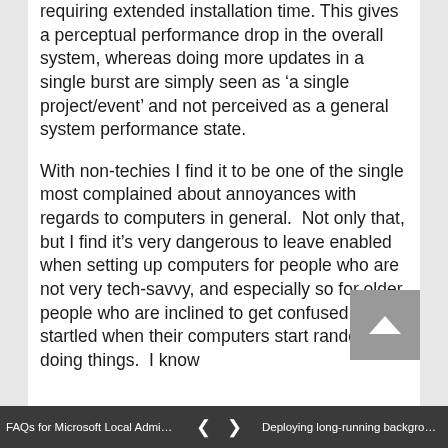requiring extended installation time. This gives a perceptual performance drop in the overall system, whereas doing more updates in a single burst are simply seen as ‘a single project/event’ and not perceived as a general system performance state.
With non-techies I find it to be one of the single most complained about annoyances with regards to computers in general.  Not only that, but I find it’s very dangerous to leave enabled when setting up computers for people who are not very tech-savvy, and especially so for older people who are inclined to get confused or startled when their computers start randomly doing things.  I know
FAQs for Microsoft Local Administr... ❮ ❯ Deploying long-running backgroun...